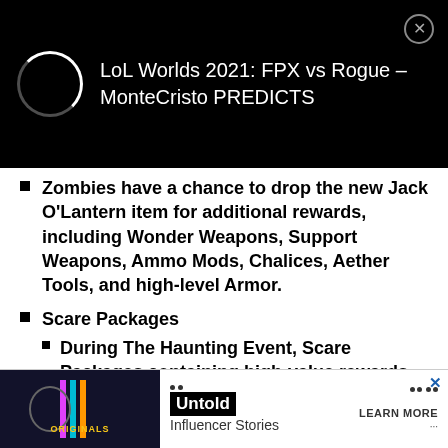[Figure (screenshot): Black notification banner showing a loading spinner on the left and text 'LoL Worlds 2021: FPX vs Rogue – MonteCristo PREDICTS' on the right with a close (X) button]
Zombies have a chance to drop the new Jack O'Lantern item for additional rewards, including Wonder Weapons, Support Weapons, Ammo Mods, Chalices, Aether Tools, and high-level Armor.
Scare Packages
During The Haunting Event, Scare Packages containing high-value rewards will spawn every five rounds in round-based maps, and in every Outbreak Region.
Pur...
Z... all
[Figure (screenshot): Advertisement banner with 'ORIGINALS' logo on left, bullet point, 'Untold' title in black box, 'Influencer Stories' subtitle, and 'LEARN MORE' text on right with X close button]